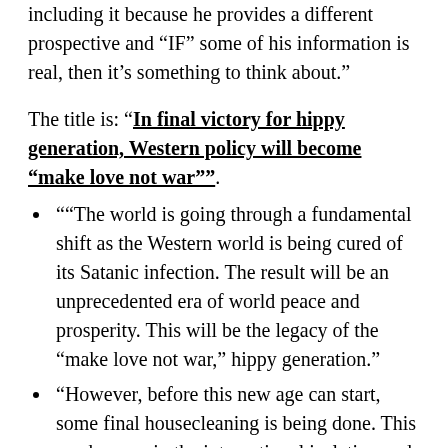including it because he provides a different prospective and “IF” some of his information is real, then it’s something to think about.”
The title is: “In final victory for hippy generation, Western policy will become “make love not war””.
““The world is going through a fundamental shift as the Western world is being cured of its Satanic infection. The result will be an unprecedented era of world peace and prosperity. This will be the legacy of the “make love not war,” hippy generation.”
“However, before this new age can start, some final housecleaning is being done. This can be seen in the international isolation and financial collapse of the fake Joe Biden regime in the United States. The collapse is accelerating as the Khazarian mafia “Biden” regime falls into pariah status.”
“As an example, last week the Biden avatar called a